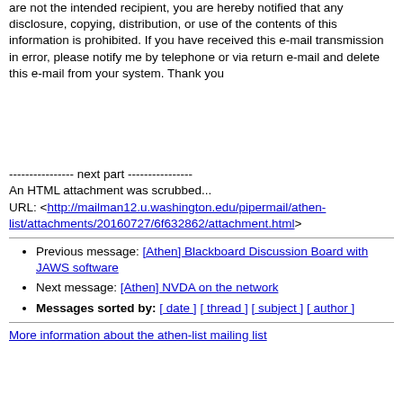are not the intended recipient, you are hereby notified that any disclosure, copying, distribution, or use of the contents of this information is prohibited. If you have received this e-mail transmission in error, please notify me by telephone or via return e-mail and delete this e-mail from your system. Thank you
---------------- next part ----------------
An HTML attachment was scrubbed...
URL: <http://mailman12.u.washington.edu/pipermail/athen-list/attachments/20160727/6f632862/attachment.html>
Previous message: [Athen] Blackboard Discussion Board with JAWS software
Next message: [Athen] NVDA on the network
Messages sorted by: [ date ] [ thread ] [ subject ] [ author ]
More information about the athen-list mailing list